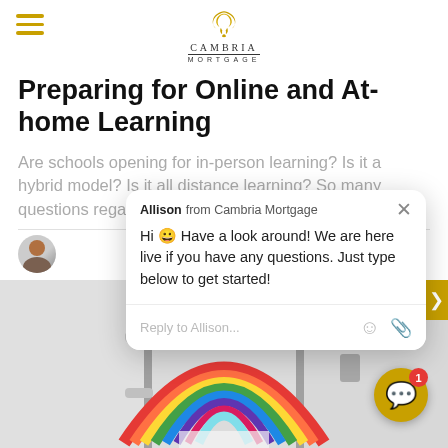Cambria Mortgage
Preparing for Online and At-home Learning
Are schools opening for in-person learning? Is it a hybrid model? Is it all distance learning? So many questions regarding
[Figure (screenshot): Chat popup from Allison at Cambria Mortgage: 'Hi 😀 Have a look around! We are here live if you have any questions. Just type below to get started!' with Reply to Allison... input field]
[Figure (photo): Photo of windows with a colorful rainbow drawn/painted on glass, viewed from outside]